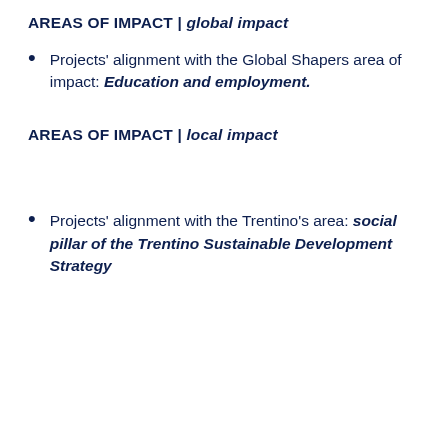AREAS OF IMPACT | global impact
Projects' alignment with the Global Shapers area of impact: Education and employment.
AREAS OF IMPACT | local impact
Projects' alignment with the Trentino's area: social pillar of the Trentino Sustainable Development Strategy